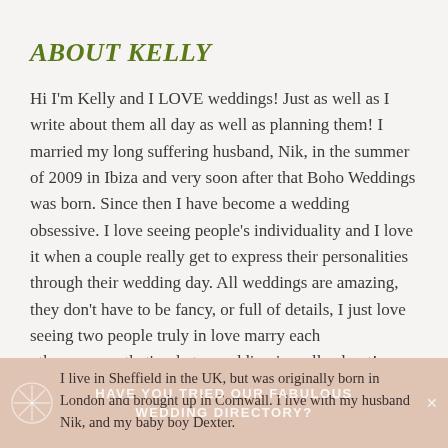ABOUT KELLY
Hi I’m Kelly and I LOVE weddings! Just as well as I write about them all day as well as planning them! I married my long suffering husband, Nik, in the summer of 2009 in Ibiza and very soon after that Boho Weddings was born. Since then I have become a wedding obsessive. I love seeing people’s individuality and I love it when a couple really get to express their personalities through their wedding day. All weddings are amazing, they don’t have to be fancy, or full of details, I just love seeing two people truly in love marry each other………….that’s what a wedding is really about!
I live in Sheffield in the UK, but was originally born in London and brought up in Cornwall. I live with my husband Nik, and my baby boy Dexter.
HAVE YOU TRIED OUR FABULOUS WEDDING DIRECTORY?